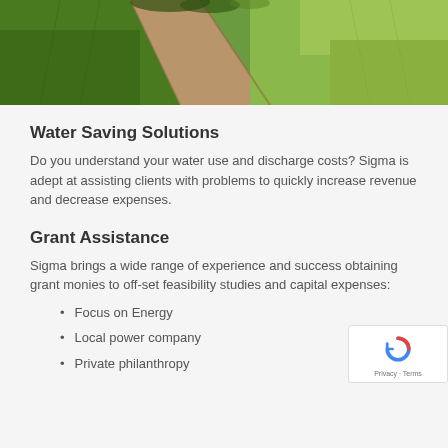[Figure (photo): Aerial or ground-level photo of a green grassy field with a dirt path or drainage channel running diagonally through it, with lush green plants on the left side and lighter grass on the right.]
Water Saving Solutions
Do you understand your water use and discharge costs? Sigma is adept at assisting clients with problems to quickly increase revenue and decrease expenses.
Grant Assistance
Sigma brings a wide range of experience and success obtaining grant monies to off-set feasibility studies and capital expenses:
Focus on Energy
Local power company
Private philanthropy